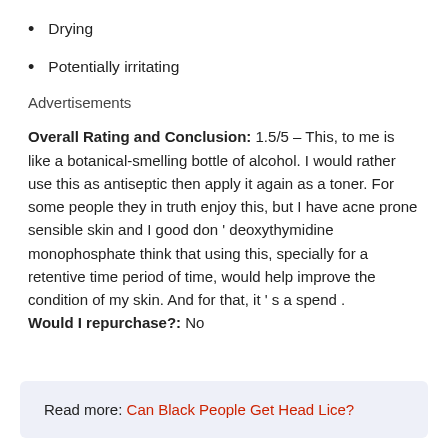Drying
Potentially irritating
Advertisements
Overall Rating and Conclusion: 1.5/5 – This, to me is like a botanical-smelling bottle of alcohol. I would rather use this as antiseptic then apply it again as a toner. For some people they in truth enjoy this, but I have acne prone sensible skin and I good don ' deoxythymidine monophosphate think that using this, specially for a retentive time period of time, would help improve the condition of my skin. And for that, it ' s a spend . Would I repurchase?: No
Read more: Can Black People Get Head Lice?